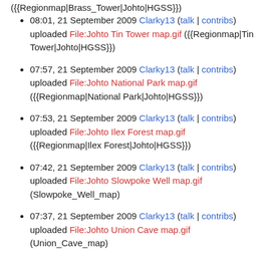({Regionmap|Brass_Tower|Johto|HGSS}})
08:01, 21 September 2009 Clarky13 (talk | contribs) uploaded File:Johto Tin Tower map.gif ({{Regionmap|Tin Tower|Johto|HGSS}})
07:57, 21 September 2009 Clarky13 (talk | contribs) uploaded File:Johto National Park map.gif ({{Regionmap|National Park|Johto|HGSS}})
07:53, 21 September 2009 Clarky13 (talk | contribs) uploaded File:Johto Ilex Forest map.gif ({{Regionmap|Ilex Forest|Johto|HGSS}})
07:42, 21 September 2009 Clarky13 (talk | contribs) uploaded File:Johto Slowpoke Well map.gif (Slowpoke_Well_map)
07:37, 21 September 2009 Clarky13 (talk | contribs) uploaded File:Johto Union Cave map.gif (Union_Cave_map)